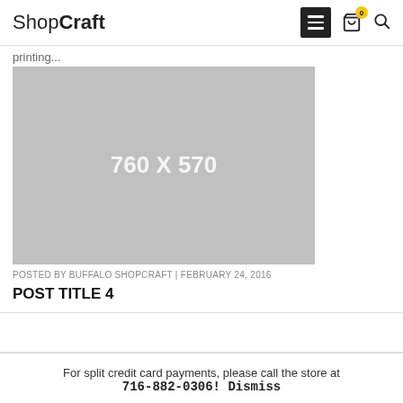ShopCraft
printing...
[Figure (photo): Gray placeholder image with text '760 X 570']
POSTED BY BUFFALO SHOPCRAFT | FEBRUARY 24, 2016
POST TITLE 4
For split credit card payments, please call the store at 716-882-0306! Dismiss